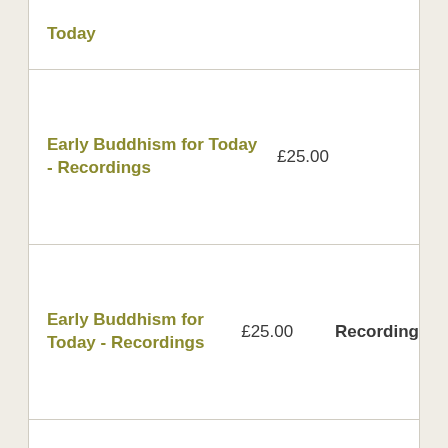| Item | Price | Type |
| --- | --- | --- |
| Today |  |  |
| Early Buddhism for Today - Recordings | £25.00 |  |
| Early Buddhism for Today - Recordings | £25.00 | Recording |
| Embodying the Paramis (perfections) online retreat | £50.00 |  |